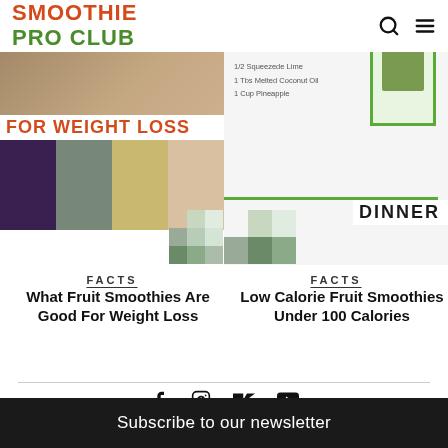SMOOTHIE PRO CLUB
[Figure (screenshot): Partial view of a smoothie article with FOR WEIGHT LOSS heading and food thumbnails]
[Figure (screenshot): Partial view of a dinner smoothie recipe card with green border and ingredient text]
FACTS
What Fruit Smoothies Are Good For Weight Loss
FACTS
Low Calorie Fruit Smoothies Under 100 Calories
© 2021 SmoothieProClub.com | Contact us: contact@smoothieproclub.com
Subscribe to our newsletter